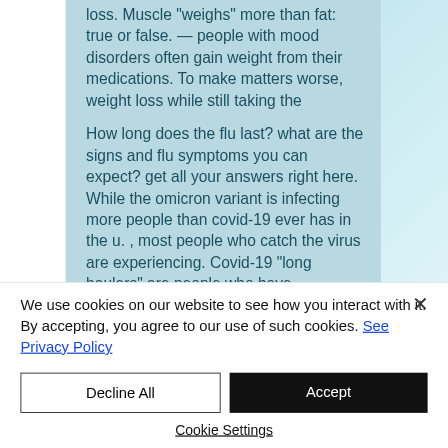loss. Muscle "weighs" more than fat: true or false. — people with mood disorders often gain weight from their medications. To make matters worse, weight loss while still taking the
How long does the flu last? what are the signs and flu symptoms you can expect? get all your answers right here. While the omicron variant is infecting more people than covid-19 ever has in the u. , most people who catch the virus are experiencing. Covid-19 &quot;long haulers&quot; are people who have recovered from the virus but are
We use cookies on our website to see how you interact with it. By accepting, you agree to our use of such cookies. See Privacy Policy
Decline All
Accept
Cookie Settings